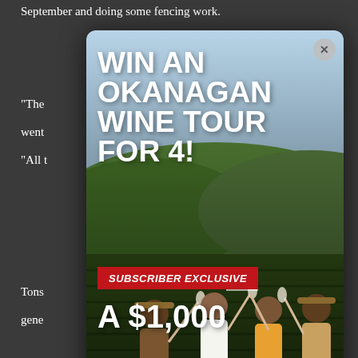September and doing some fencing work.
[Figure (infographic): Modal popup advertisement: 'WIN AN OKANAGAN WINE TOUR FOR 4!' with a photo of four people toasting wine glasses in a vineyard, a red 'SUBSCRIBER EXCLUSIVE' banner, and text reading 'A $1,000'. Has a close (X) button in top right.]
The Walk Offs, for their second-place finish, rung in $800 and another prize package. The third-place Rowdies claimed $400.
The Rookies, in the 'B' division, won $600 and a prize